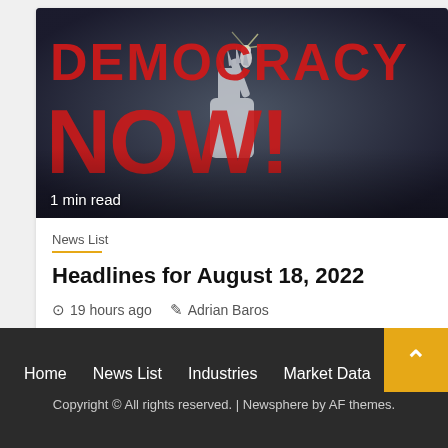[Figure (photo): Democracy Now! show title card with bold red text 'DEMOCRACY NOW!' overlaid on an image featuring the Statue of Liberty silhouette. Dark, dramatic background.]
1 min read
News List
Headlines for August 18, 2022
19 hours ago   Adrian Baros
Home   News List   Industries   Market Data   Rev...   Copyright © All rights reserved. | Newsphere by AF themes.